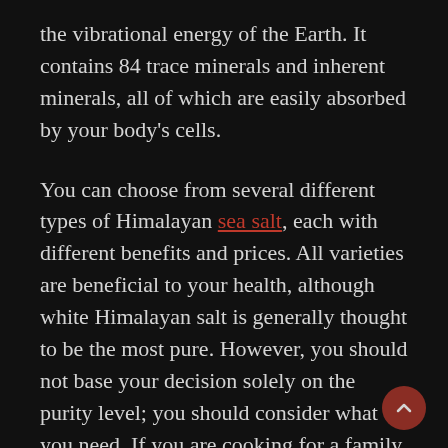the vibrational energy of the Earth. It contains 84 trace minerals and inherent minerals, all of which are easily absorbed by your body's cells.
You can choose from several different types of Himalayan sea salt, each with different benefits and prices. All varieties are beneficial to your health, although white Himalayan salt is generally thought to be the most pure. However, you should not base your decision solely on the purity level; you should consider what you need. If you are cooking for a family, buying the purest